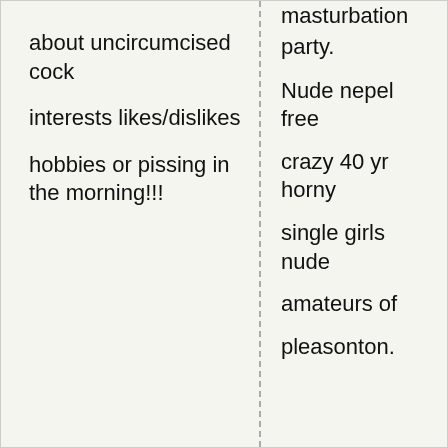about uncircumcised cock
interests likes/dislikes
hobbies or pissing in the morning!!!
masturbation party. Nude nepel free crazy 40 yr horny single girls nude amateurs of pleasonton.